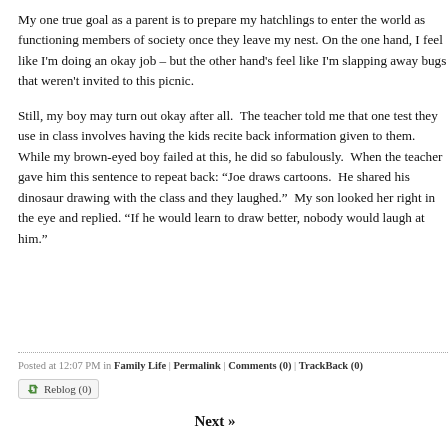My one true goal as a parent is to prepare my hatchlings to enter the world as functioning members of society once they leave my nest. On the one hand, I feel like I'm doing an okay job – but the other hand's feel like I'm slapping away bugs that weren't invited to this picnic.
Still, my boy may turn out okay after all.  The teacher told me that one test they use in class involves having the kids recite back information given to them.  While my brown-eyed boy failed at this, he did so fabulously.  When the teacher gave him this sentence to repeat back: "Joe draws cartoons.  He shared his dinosaur drawing with the class and they laughed."  My son looked her right in the eye and replied. "If he would learn to draw better, nobody would laugh at him."
Posted at 12:07 PM in Family Life | Permalink | Comments (0) | TrackBack (0)
Reblog (0)
Next »